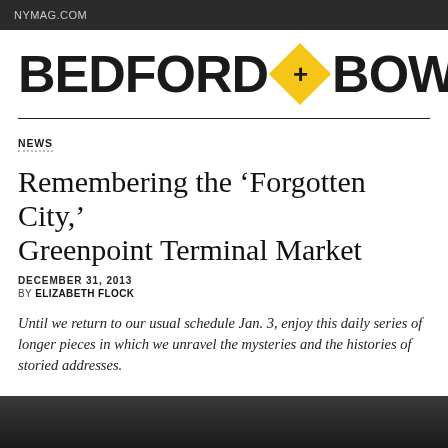NYMAG.COM
[Figure (logo): Bedford + Bowery logo with yellow diamond containing a plus sign between the two words, bold black text]
NEWS
Remembering the ‘Forgotten City,’ Greenpoint Terminal Market
DECEMBER 31, 2013
BY ELIZABETH FLOCK
Until we return to our usual schedule Jan. 3, enjoy this daily series of longer pieces in which we unravel the mysteries and the histories of storied addresses.
[Figure (photo): Dark photograph strip at the bottom of the page, partially visible]